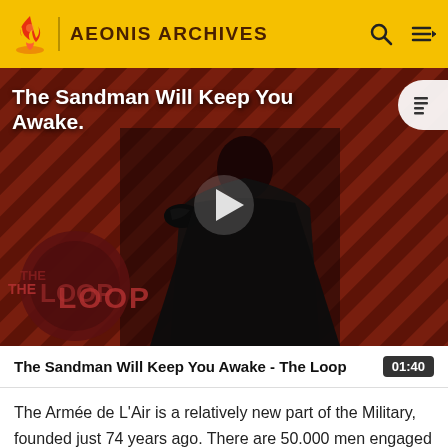AEONIS ARCHIVES
[Figure (screenshot): Video thumbnail showing a dark-cloaked figure against a red diagonal striped background with 'THE LOOP' text and a play button overlay. Title overlay reads 'The Sandman Will Keep You Awake...']
The Sandman Will Keep You Awake - The Loop
The Armée de L'Air is a relatively new part of the Military, founded just 74 years ago. There are 50.000 men engaged in the airforce. With more than 00 airships and